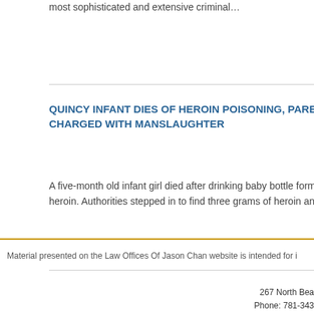most sophisticated and extensive criminal…
QUINCY INFANT DIES OF HEROIN POISONING, PARENTS CHARGED WITH MANSLAUGHTER
A five-month old infant girl died after drinking baby bottle formula laced with heroin. Authorities stepped in to find three grams of heroin and hypodermic…
Material presented on the Law Offices Of Jason Chan website is intended for i
267 North Bea
Phone: 781-343